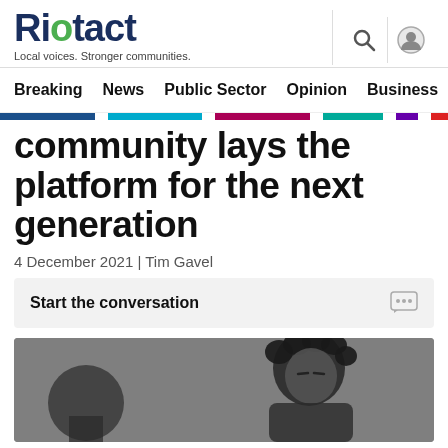Riatact — Local voices. Stronger communities.
Breaking  News  Public Sector  Opinion  Business  R
community lays the platform for the next generation
4 December 2021 | Tim Gavel
Start the conversation
[Figure (photo): Black and white photo of a person with curly hair, eyes closed, near a microphone]